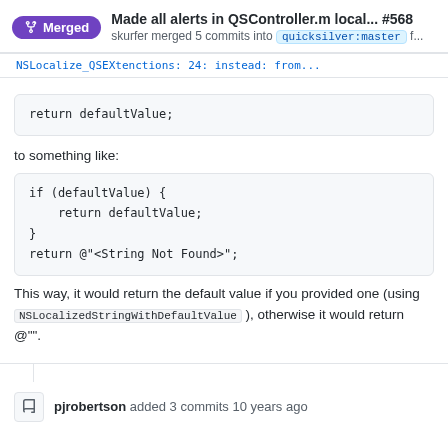Made all alerts in QSController.m local... #568 skurfer merged 5 commits into quicksilver:master f...
(truncated code line above)
to something like:
This way, it would return the default value if you provided one (using NSLocalizedStringWithDefaultValue ), otherwise it would return @"".
pjrobertson added 3 commits 10 years ago